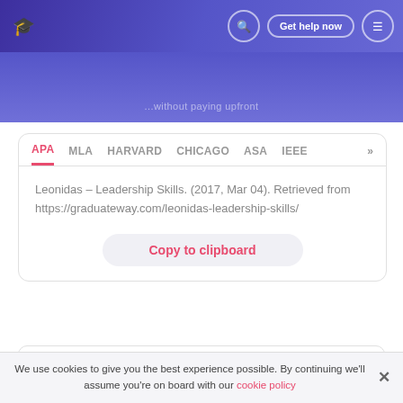Get help now
...without paying upfront
APA  MLA  HARVARD  CHICAGO  ASA  IEEE >>
Leonidas – Leadership Skills. (2017, Mar 04). Retrieved from https://graduateway.com/leonidas-leadership-skills/
Copy to clipboard
Plagiarism scanner
We use cookies to give you the best experience possible. By continuing we'll assume you're on board with our cookie policy